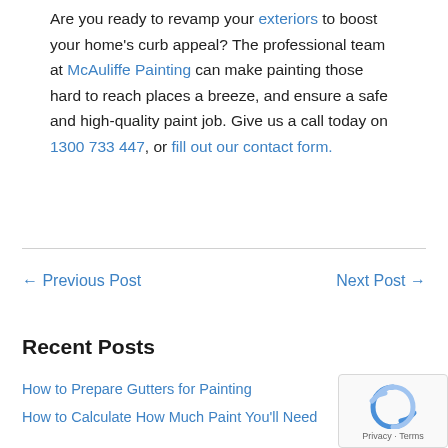Are you ready to revamp your exteriors to boost your home's curb appeal? The professional team at McAuliffe Painting can make painting those hard to reach places a breeze, and ensure a safe and high-quality paint job. Give us a call today on 1300 733 447, or fill out our contact form.
← Previous Post    Next Post →
Recent Posts
How to Prepare Gutters for Painting
How to Calculate How Much Paint You'll Need